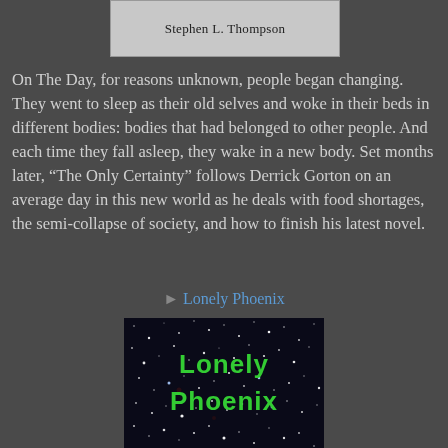[Figure (illustration): Top portion of a book cover showing author name 'Stephen L. Thompson' on a light gray background]
On The Day, for reasons unknown, people began changing. They went to sleep as their old selves and woke in their beds in different bodies: bodies that had belonged to other people. And each time they fall asleep, they wake in a new body. Set months later, “The Only Certainty” follows Derrick Gorton on an average day in this new world as he deals with food shortages, the semi-collapse of society, and how to finish his latest novel.
Lonely Phoenix
[Figure (illustration): Book cover for 'Lonely Phoenix' showing a dark starfield background with bright green text reading 'Lonely Phoenix']